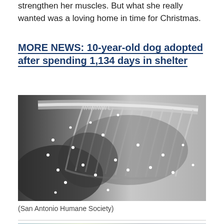strengthen her muscles. But what she really wanted was a loving home in time for Christmas.
MORE NEWS: 10-year-old dog adopted after spending 1,134 days in shelter
[Figure (photo): X-ray image of a dog's torso showing ribs, spine and internal organs with multiple small white dots (BB pellets or similar foreign objects) visible throughout the body.]
(San Antonio Humane Society)
[Figure (photo): Partially visible image at the bottom of the page, appears to show a dog or person outdoors.]